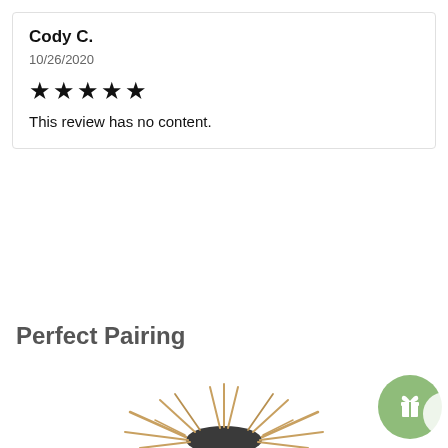Cody C.
10/26/2020
★★★★★
This review has no content.
Perfect Pairing
[Figure (photo): Cactus plant with spiky thorns visible at bottom of page, photographed against white background. A green circular gift/loyalty button icon is visible at bottom right corner.]